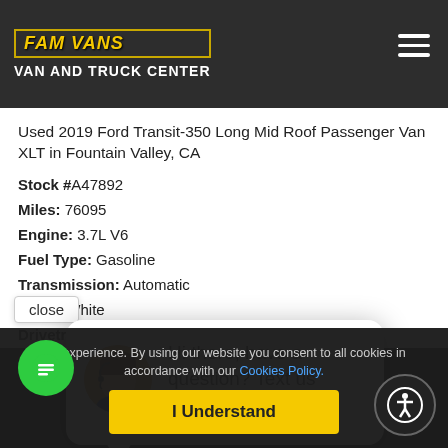FAM VANS VAN AND TRUCK CENTER
Used 2019 Ford Transit-350 Long Mid Roof Passenger Van XLT in Fountain Valley, CA
Stock #A47892
Miles: 76095
Engine: 3.7L V6
Fuel Type: Gasoline
Transmission: Automatic
Color: White
Drivetrain: Rear Wheel Drive
[Figure (other): Chat popup with avatar: Hi there, have a question? Text us here!]
This website uses cookies to improve your experience. By using our website you consent to all cookies in accordance with our Cookies Policy.
I Understand